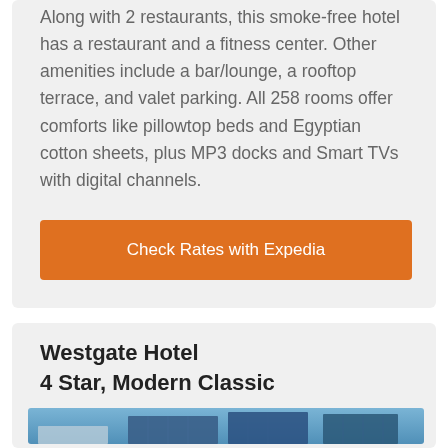Along with 2 restaurants, this smoke-free hotel has a restaurant and a fitness center. Other amenities include a bar/lounge, a rooftop terrace, and valet parking. All 258 rooms offer comforts like pillowtop beds and Egyptian cotton sheets, plus MP3 docks and Smart TVs with digital channels.
Check Rates with Expedia
Westgate Hotel
4 Star, Modern Classic
[Figure (photo): Photo of Westgate Hotel building exterior showing modern high-rise buildings against a blue sky]